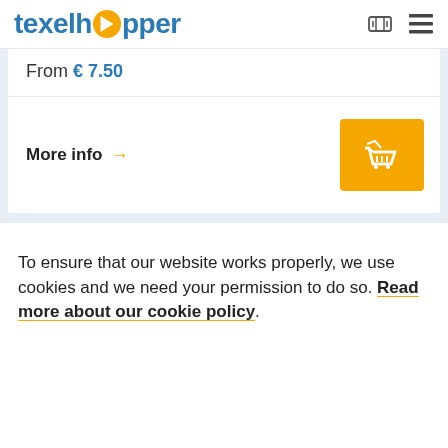[Figure (logo): texelhopper logo with play button icon]
From € 7.50
More info →
[Figure (illustration): Shopping basket icon button in orange/yellow]
To ensure that our website works properly, we use cookies and we need your permission to do so. Read more about our cookie policy.